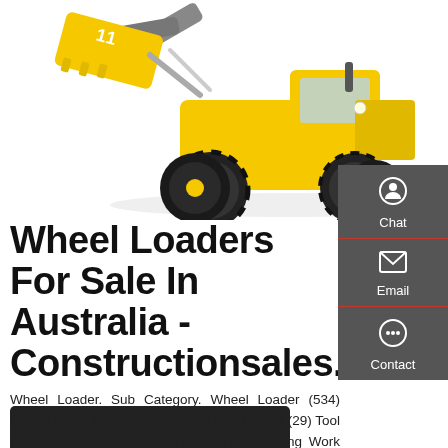[Figure (photo): Yellow and black wheel loader / front-end loader construction machine photographed against white background, bucket raised]
Wheel Loaders For Sale In Australia - Constructionsales.Com.Au
Wheel Loader. Sub Category. Wheel Loader (534) Other Loader (22) Log Loader (5) Mini Loader (29) Tool Carrier (16) Underground Loader (7) Elevating Work Platforms (127)